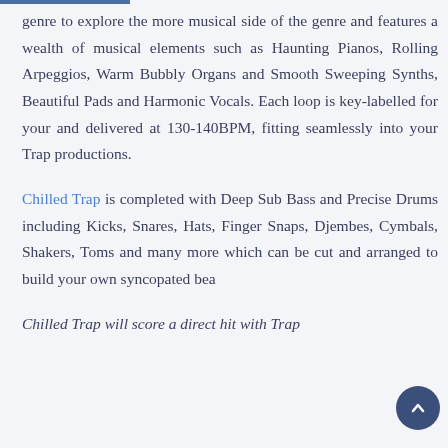genre to explore the more musical side of the genre and features a wealth of musical elements such as Haunting Pianos, Rolling Arpeggios, Warm Bubbly Organs and Smooth Sweeping Synths, Beautiful Pads and Harmonic Vocals. Each loop is key-labelled for your and delivered at 130-140BPM, fitting seamlessly into your Trap productions.
Chilled Trap is completed with Deep Sub Bass and Precise Drums including Kicks, Snares, Hats, Finger Snaps, Djembes, Cymbals, Shakers, Toms and many more which can be cut and arranged to build your own syncopated bea...
Chilled Trap will score a direct hit with Trap...